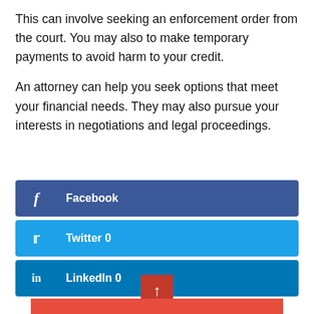This can involve seeking an enforcement order from the court. You may also to make temporary payments to avoid harm to your credit.
An attorney can help you seek options that meet your financial needs. They may also pursue your interests in negotiations and legal proceedings.
[Figure (infographic): Social media share buttons: Facebook (dark blue), Twitter (light blue with count 0), LinkedIn (medium blue with count 0)]
[Figure (infographic): Back to top button (red square with upward arrow) above a red bar at the bottom of the page]